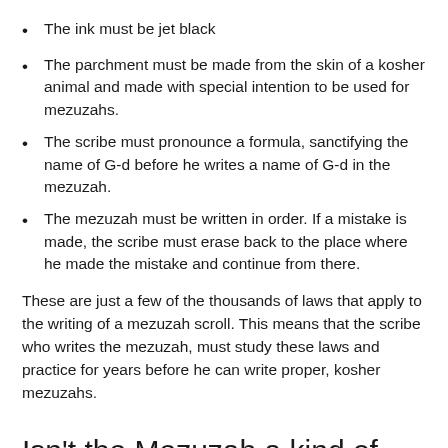The ink must be jet black
The parchment must be made from the skin of a kosher animal and made with special intention to be used for mezuzahs.
The scribe must pronounce a formula, sanctifying the name of G-d before he writes a name of G-d in the mezuzah.
The mezuzah must be written in order. If a mistake is made, the scribe must erase back to the place where he made the mistake and continue from there.
These are just a few of the thousands of laws that apply to the writing of a mezuzah scroll. This means that the scribe who writes the mezuzah, must study these laws and practice for years before he can write proper, kosher mezuzahs.
Isn't the Mezuzah a kind of lucky